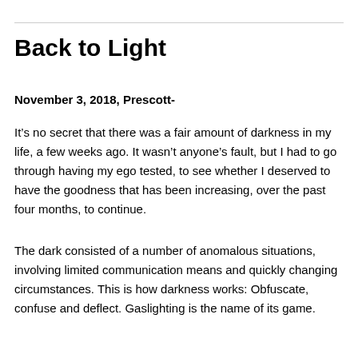Back to Light
November 3, 2018, Prescott-
It’s no secret that there was a fair amount of darkness in my life, a few weeks ago.  It wasn’t anyone’s fault, but I had to go through having my ego tested, to see whether I deserved to have the goodness that has been increasing, over the past four months, to continue.
The dark consisted of a number of anomalous situations, involving limited communication means and quickly changing circumstances.  This is how darkness works: Obfuscate, confuse and deflect.  Gaslighting is the name of its game.